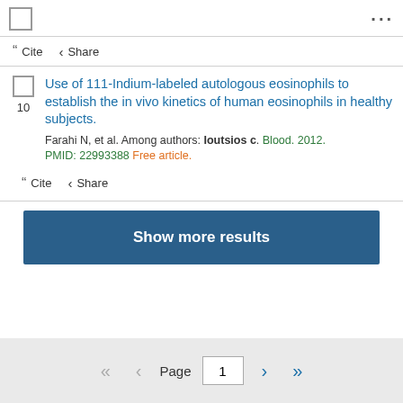Cite  Share
Use of 111-Indium-labeled autologous eosinophils to establish the in vivo kinetics of human eosinophils in healthy subjects.
Farahi N, et al. Among authors: Ioutsios c. Blood. 2012. PMID: 22993388 Free article.
Cite  Share
Show more results
Page 1